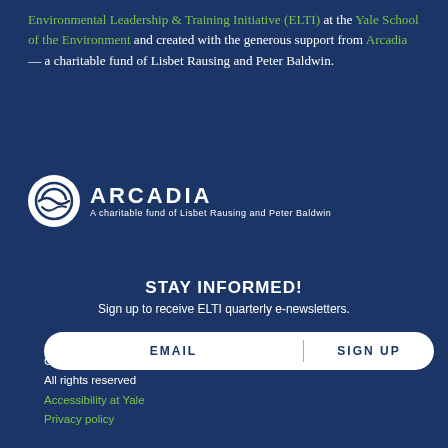Environmental Leadership & Training Initiative (ELTI) at the Yale School of the Environment and created with the generous support from Arcadia — a charitable fund of Lisbet Rausing and Peter Baldwin.
[Figure (logo): Arcadia logo: circular emblem with stylized A shape, followed by text ARCADIA in bold caps and subtitle 'A charitable fund of Lisbet Rausing and Peter Baldwin']
STAY INFORMED!
Sign up to receive ELTI quarterly e-newsletters.
EMAIL | SIGN UP
Copyright © 2020 Yale University
All rights reserved
Accessibility at Yale
Privacy policy